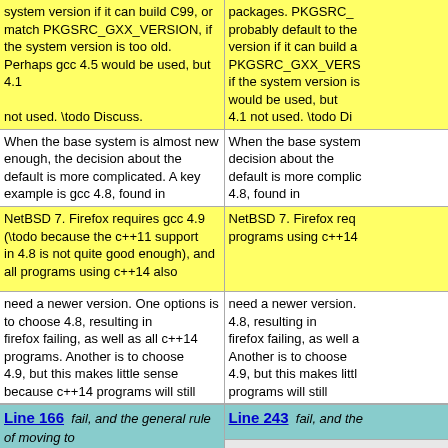system version if it can build C99, or match PKGSRC_GXX_VERSION, if the system version is too old.  Perhaps gcc 4.5 would be used, but 4.1

not used.  \todo Discuss.
packages.  PKGSRC_ probably default to the version if it can build a PKGSRC_GXX_VERS if the system version is would be used, but 4.1 not used.  \todo Di
When the base system is almost new enough, the decision about the default is more complicated.  A key example is gcc 4.8, found in
When the base system decision about the default is more complic 4.8, found in
NetBSD 7.  Firefox requires gcc 4.9 (\todo because the c++11 support in 4.8 is not quite good enough), and all programs using c++14 also
NetBSD 7.  Firefox req programs using c++14
need a newer version.  One options is to choose 4.8, resulting in firefox failing, as well as all c++14 programs.  Another is to choose 4.9, but this makes little sense because c++14 programs will still
need a newer version. 4.8, resulting in firefox failing, as well a Another is to choose 4.9, but this makes littl programs will still
Line 166  fail, and the general rule of moving to
Line 243  fail, and the
generally-acceptable version applies, which currently leads to gcc6.
 This is in effect a declaration that "almost new enough" does not count as new enough.  Thus the plan for NetBSD 7 is to set
generally-acceptable v currently leads to gcc6. This is in effect a decla enough" does not count as new enough. 7 is to set